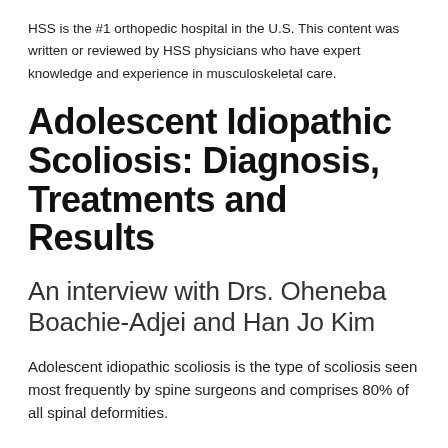HSS is the #1 orthopedic hospital in the U.S. This content was written or reviewed by HSS physicians who have expert knowledge and experience in musculoskeletal care.
Adolescent Idiopathic Scoliosis: Diagnosis, Treatments and Results
An interview with Drs. Oheneba Boachie-Adjei and Han Jo Kim
Adolescent idiopathic scoliosis is the type of scoliosis seen most frequently by spine surgeons and comprises 80% of all spinal deformities.